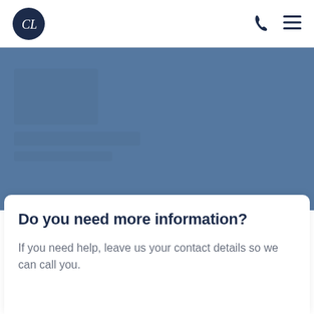[Figure (logo): Circular dark navy logo with stylized 'CL' monogram letters in white]
[Figure (infographic): Dark navy phone/telephone icon in navigation bar]
[Figure (infographic): Dark navy hamburger menu icon (three horizontal lines) in navigation bar]
[Figure (photo): Blue-grey hero banner section with faint background imagery]
Do you need more information?
If you need help, leave us your contact details so we can call you.